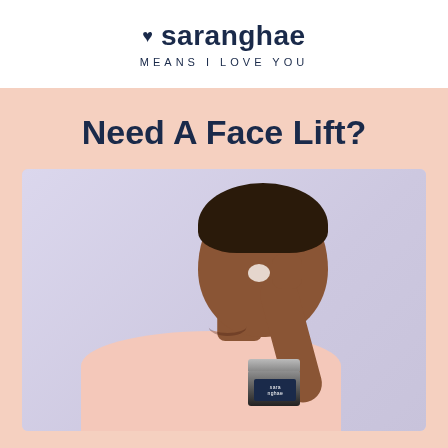saranghae MEANS I LOVE YOU
Need A Face Lift?
[Figure (photo): A smiling woman applying face cream from a Saranghae product jar to her cheek, against a light lavender background]